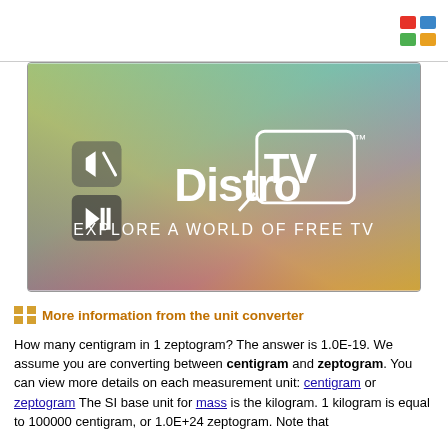[Figure (screenshot): DistroTV promotional screenshot showing colorful gradient background with DistroTV logo and tagline 'Explore a World of Free TV', with media player controls visible]
More information from the unit converter
How many centigram in 1 zeptogram? The answer is 1.0E-19. We assume you are converting between centigram and zeptogram. You can view more details on each measurement unit: centigram or zeptogram The SI base unit for mass is the kilogram. 1 kilogram is equal to 100000 centigram, or 1.0E+24 zeptogram. Note that rounding errors may occur, so always check the results. Use this page to learn how to convert between centigrams and zeptograms.